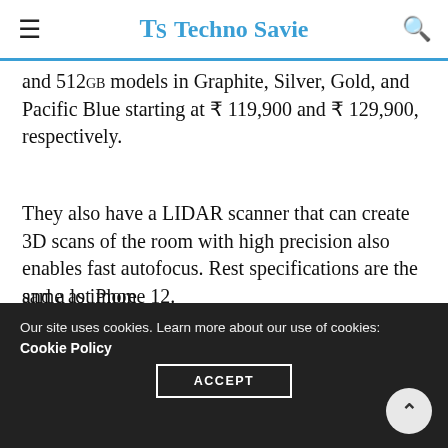TS Techno Savie
and 512GB models in Graphite, Silver, Gold, and Pacific Blue starting at ₹ 119,900 and ₹ 129,900, respectively.
They also have a LIDAR scanner that can create 3D scans of the room with high precision also enables fast autofocus. Rest specifications are the same as iPhone 12.
To get all the latest tech news, like us on facebook and follow us on twitter, instagram
Our site uses cookies. Learn more about our use of cookies: Cookie Policy